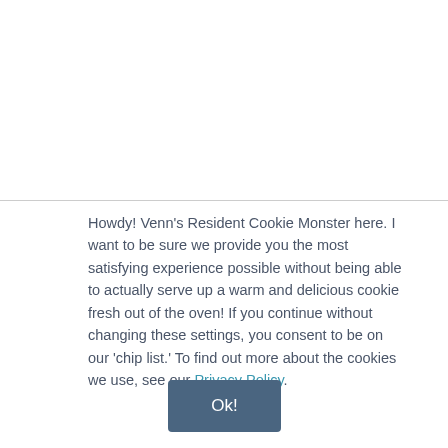Howdy! Venn's Resident Cookie Monster here. I want to be sure we provide you the most satisfying experience possible without being able to actually serve up a warm and delicious cookie fresh out of the oven! If you continue without changing these settings, you consent to be on our 'chip list.' To find out more about the cookies we use, see our Privacy Policy.